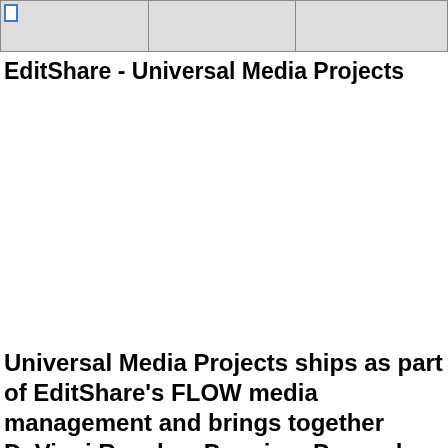EditShare - Universal Media Projects
Universal Media Projects ships as part of EditShare's FLOW media management and brings together DaVinci Resolve, Premiere Pro and Media Composer into a single workflow environment. From anywhere